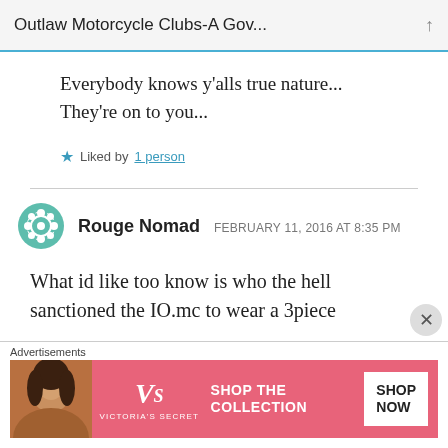Outlaw Motorcycle Clubs-A Gov...
Everybody knows y’alls true nature... They’re on to you...
★ Liked by 1 person
Rouge Nomad  FEBRUARY 11, 2016 AT 8:35 PM
What id like too know is who the hell sanctioned the IO.mc to wear a 3piece
[Figure (other): Advertisement banner: Victoria's Secret - Shop the Collection / Shop Now]
Advertisements